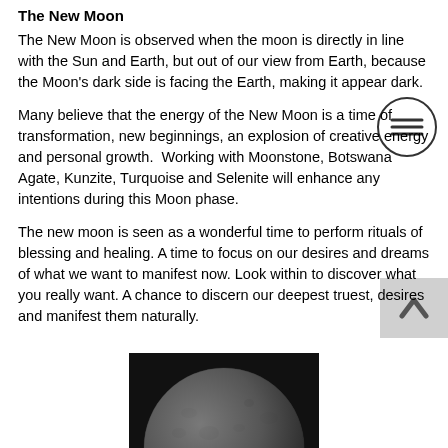The New Moon
The New Moon is observed when the moon is directly in line with the Sun and Earth, but out of our view from Earth, because the Moon's dark side is facing the Earth, making it appear dark.
Many believe that the energy of the New Moon is a time of transformation, new beginnings, an explosion of creative energy and personal growth.  Working with Moonstone, Botswana Agate, Kunzite, Turquoise and Selenite will enhance any intentions during this Moon phase.
The new moon is seen as a wonderful time to perform rituals of blessing and healing. A time to focus on our desires and dreams of what we want to manifest now. Look within to discover what you really want. A chance to discern our deepest truest, desires and manifest them naturally.
[Figure (photo): Black and white photograph of the moon, showing it partially illuminated, bottom half visible at the bottom of the page.]